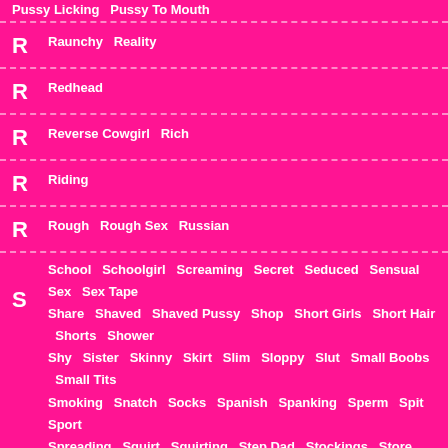Pussy Licking   Pussy To Mouth
R  Raunchy   Reality
R  Redhead
R  Reverse Cowgirl   Rich
R  Riding
R  Rough   Rough Sex   Russian
S  School  Schoolgirl  Screaming  Secret  Seduced  Sensual  Sex  Sex Tape  Share  Shaved  Shaved Pussy  Shop  Short Girls  Short Hair  Shorts  Shower  Shy  Sister  Skinny  Skirt  Slim  Sloppy  Slut  Small Boobs  Small Tits  Smoking  Snatch  Socks  Spanish  Spanking  Sperm  Spit  Sport  Spreading  Squirt  Squirting  Step Dad  Stockings  Store  Story  Stranger  Street  Strip  Striptease
S  Student